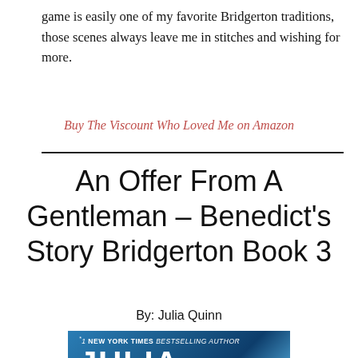game is easily one of my favorite Bridgerton traditions, those scenes always leave me in stitches and wishing for more.
Buy The Viscount Who Loved Me on Amazon
An Offer From A Gentleman – Benedict's Story Bridgerton Book 3
By: Julia Quinn
[Figure (photo): Book cover for An Offer From A Gentleman by Julia Quinn showing a blue-toned cover with '#1 New York Times Bestselling Author' text and the author name 'JULIA' in large white letters]